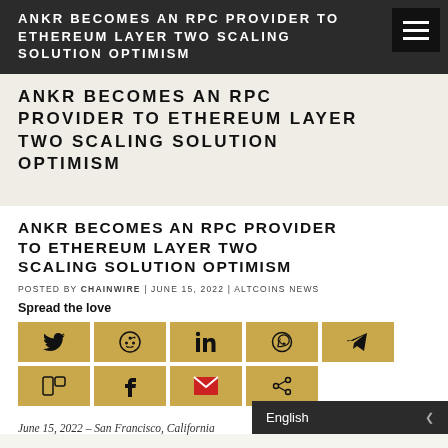ANKR BECOMES AN RPC PROVIDER TO ETHEREUM LAYER TWO SCALING SOLUTION OPTIMISM
ANKR BECOMES AN RPC PROVIDER TO ETHEREUM LAYER TWO SCALING SOLUTION OPTIMISM
POSTED BY CHAINWIRE | JUNE 15, 2022 | ALTCOINS NEWS
Spread the love
[Figure (infographic): Social share buttons: Twitter, Reddit, LinkedIn, WhatsApp, Telegram, Mix, Facebook, Email, Share]
June 15, 2022 – San Francisco, California